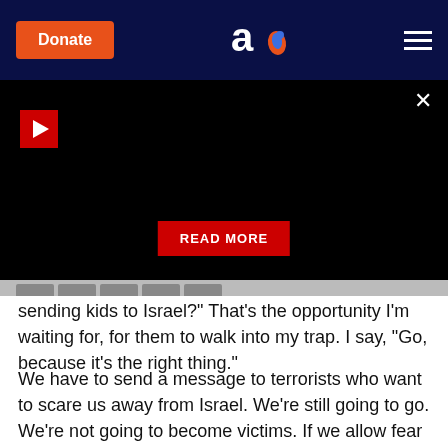Donate | Aish | Menu
[Figure (screenshot): Black video/media player area with red play button icon on left, READ MORE red button in center, and X close button at top right]
sending kids to Israel?" That's the opportunity I'm waiting for, for them to walk into my trap. I say, "Go, because it's the right thing."
We have to send a message to terrorists who want to scare us away from Israel. We're still going to go. We're not going to become victims. If we allow fear to rule their lives, then the terrorists will have won.
SUIT AGAINST IRAN